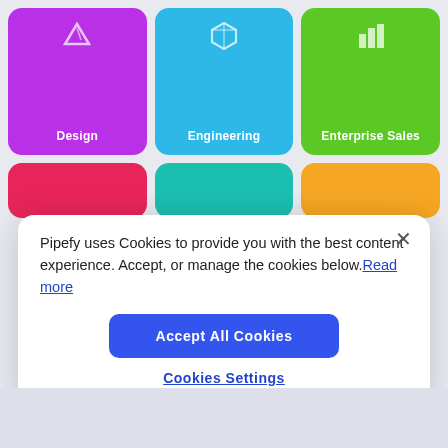[Figure (screenshot): Three colored cards: Design (purple), Engineering (blue), Enterprise Sales (green) with icons]
[Figure (screenshot): Three partial colored cards: pink, teal, orange]
Pipefy uses Cookies to provide you with the best content experience. Accept, or manage the cookies below. Read more
Accept All Cookies
Cookies Settings